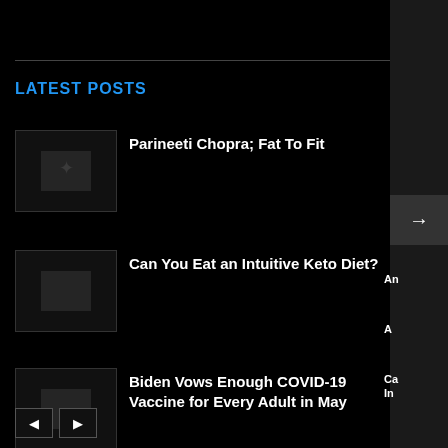LATEST POSTS
Parineeti Chopra; Fat To Fit
Can You Eat an Intuitive Keto Diet?
Biden Vows Enough COVID-19 Vaccine for Every Adult in May
An
A
Ca In